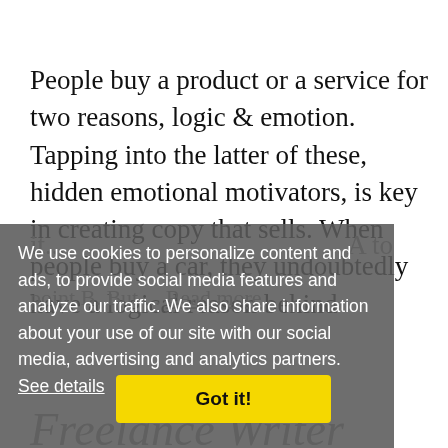People buy a product or a service for two reasons, logic & emotion. Tapping into the latter of these, hidden emotional motivators, is key in creating copy that sells. When people buy a car, they undoubtedly have a logical reason behind it... point B. But... Read more
We use cookies to personalize content and ads, to provide social media features and analyze our traffic. We also share information about your use of our site with our social media, advertising and analytics partners. See details
Got it!
Freelance Writer